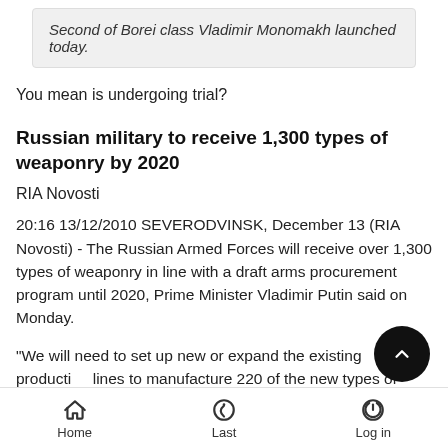Second of Borei class Vladimir Monomakh launched today.
You mean is undergoing trial?
Russian military to receive 1,300 types of weaponry by 2020
RIA Novosti
20:16 13/12/2010 SEVERODVINSK, December 13 (RIA Novosti) - The Russian Armed Forces will receive over 1,300 types of weaponry in line with a draft arms procurement program until 2020, Prime Minister Vladimir Putin said on Monday.
"We will need to set up new or expand the existing production lines to manufacture 220 of the new types of weaponry," Putin told a meeting on the program, which is expected to be adopted
Home  Last  Log in